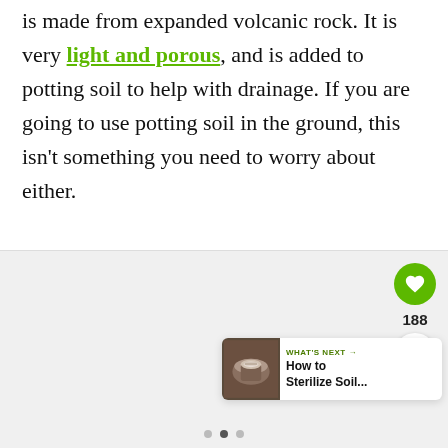is made from expanded volcanic rock. It is very light and porous, and is added to potting soil to help with drainage. If you are going to use potting soil in the ground, this isn't something you need to worry about either.
[Figure (screenshot): Light gray image area placeholder with social interaction buttons (heart/like with count 188, share button) and a 'What's Next' card showing 'How to Sterilize Soil...' with a thumbnail of soil in a pot. Navigation dots at the bottom.]